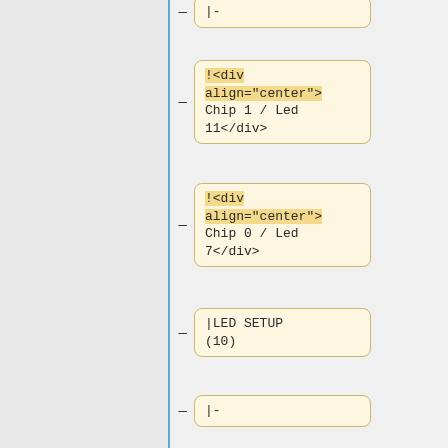|-
!<div align="center">Chip 1 / Led 11</div>
!<div align="center">Chip 0 / Led 7</div>
|LED SETUP (10)
|-
!<div align="center">NA</div>
!<div align="center">Chip 1 / Led 6</div>